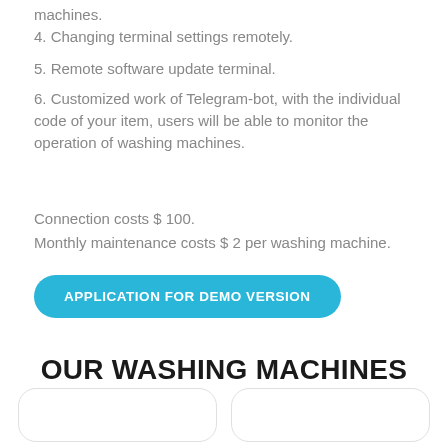machines.
4. Changing terminal settings remotely.
5. Remote software update terminal.
6. Customized work of Telegram-bot, with the individual code of your item, users will be able to monitor the operation of washing machines.
Connection costs $ 100.
Monthly maintenance costs $ 2 per washing machine.
APPLICATION FOR DEMO VERSION
OUR WASHING MACHINES